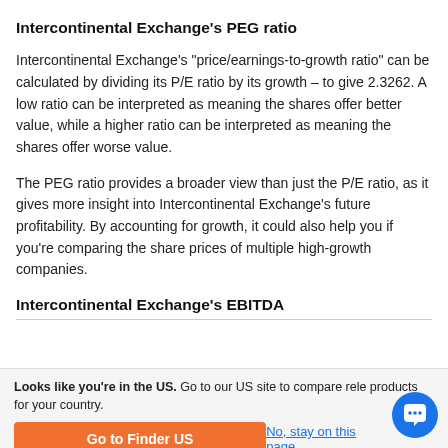Intercontinental Exchange's PEG ratio
Intercontinental Exchange's "price/earnings-to-growth ratio" can be calculated by dividing its P/E ratio by its growth – to give 2.3262. A low ratio can be interpreted as meaning the shares offer better value, while a higher ratio can be interpreted as meaning the shares offer worse value.
The PEG ratio provides a broader view than just the P/E ratio, as it gives more insight into Intercontinental Exchange's future profitability. By accounting for growth, it could also help you if you're comparing the share prices of multiple high-growth companies.
Intercontinental Exchange's EBITDA
Looks like you're in the US. Go to our US site to compare rele products for your country.
Go to Finder US
No, stay on this page